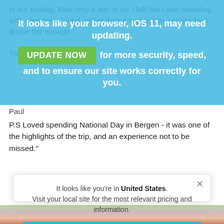of our holiday. After only a day or so, I felt like I was travelling with a longtime friend, rather than a tour leader. I really can't praise her enough.

So, tha...
Paul
[Figure (screenshot): Blue browser update warning overlay reading: 'It looks like your browser, iOS 11, may need updating.' with a green 'UPDATE NOW' button and text 'for more security, speed, and to ensure our site works correctly for you.']
P.S Loved spending National Day in Bergen - it was one of the highlights of the trip, and an experience not to be missed."
[Figure (screenshot): Modal popup: 'It looks like you're in United States. Visit your local site for the most relevant pricing and information.' with a blue 'Switch to United States' button and an X close button.]
[Figure (photo): Bottom strip of a floral/nature photo visible at the bottom of the page.]